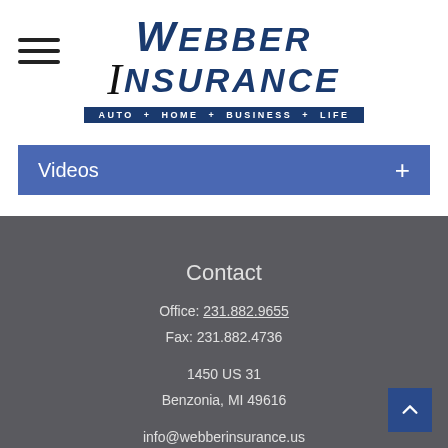[Figure (logo): Webber Insurance logo with tagline AUTO + HOME + BUSINESS + LIFE]
Videos +
Contact
Office: 231.882.9655
Fax: 231.882.4736
1450 US 31
Benzonia, MI 49616
info@webberinsurance.us